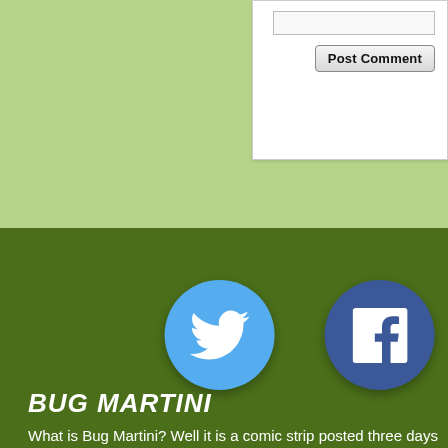[Figure (screenshot): Top light green background area with a white comment form in the upper right showing an input bar and a 'Post Comment' button]
[Figure (logo): Twitter bird logo in a light blue circle on dark green background]
[Figure (logo): Facebook 'f' logo in a dark blue circle on dark green background]
BUG MARTINI
What is Bug Martini? Well it is a comic strip posted three days a week about a funny bug!